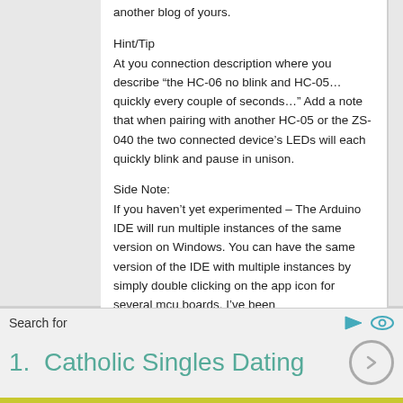another blog of yours.
Hint/Tip
At you connection description where you describe “the HC-06 no blink and HC-05… quickly every couple of seconds…” Add a note that when pairing with another HC-05 or the ZS-040 the two connected device’s LEDs will each quickly blink and pause in unison.
Side Note:
If you haven’t yet experimented – The Arduino IDE will run multiple instances of the same version on Windows. You can have the same version of the IDE with multiple instances by simply double clicking on the app icon for several mcu boards. I’ve been
Search for
1.  Catholic Singles Dating